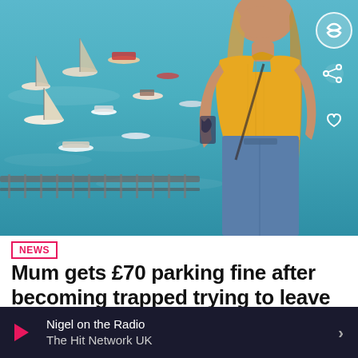[Figure (photo): Young woman in a yellow sleeveless top and jeans with tattoos, standing near a harbour railing with boats moored on blue water in the background. UI overlay icons (link, share, heart) visible on the right side.]
NEWS
Mum gets £70 parking fine after becoming trapped trying to leave Tesco
Nigel on the Radio
The Hit Network UK